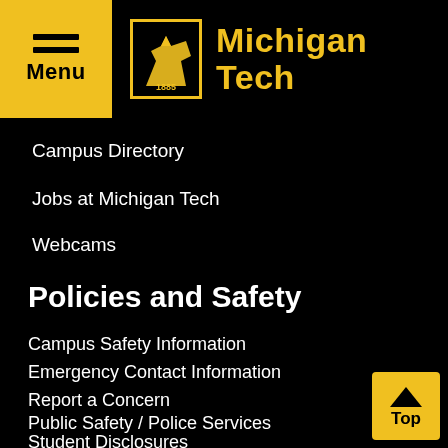Michigan Tech
Campus Directory
Jobs at Michigan Tech
Webcams
Policies and Safety
Campus Safety Information
Emergency Contact Information
Report a Concern
Public Safety / Police Services
Student Disclosures
Title IX